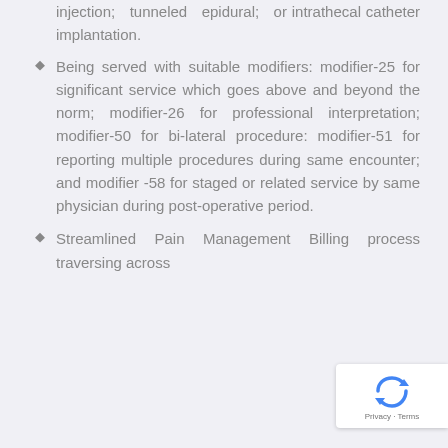injection; tunneled epidural; or intrathecal catheter implantation.
Being served with suitable modifiers: modifier-25 for significant service which goes above and beyond the norm; modifier-26 for professional interpretation; modifier-50 for bi-lateral procedure: modifier-51 for reporting multiple procedures during same encounter; and modifier -58 for staged or related service by same physician during post-operative period.
Streamlined Pain Management Billing process traversing across